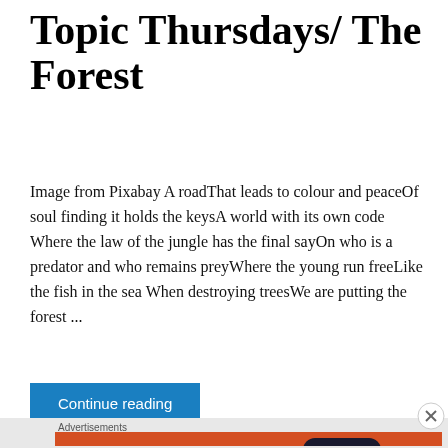Topic Thursdays/ The Forest
Image from Pixabay A roadThat leads to colour and peaceOf soul finding it holds the keysA world with its own code Where the law of the jungle has the final sayOn who is a predator and who remains preyWhere the young run freeLike the fish in the sea When destroying treesWe are putting the forest ...
[Figure (screenshot): Blue 'Continue reading' button]
Advertisements
[Figure (screenshot): DuckDuckGo advertisement banner with orange background. Text: 'Search, browse, and email with more privacy. All in One Free App' with DuckDuckGo logo and phone graphic.]